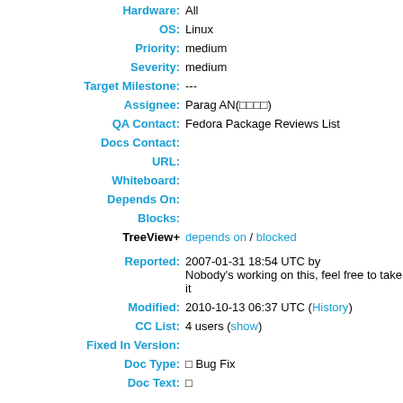Hardware: All
OS: Linux
Priority: medium
Severity: medium
Target Milestone: ---
Assignee: Parag AN(□□□□)
QA Contact: Fedora Package Reviews List
Docs Contact:
URL:
Whiteboard:
Depends On:
Blocks:
TreeView+ depends on / blocked
Reported: 2007-01-31 18:54 UTC by Nobody's working on this, feel free to take it
Modified: 2010-10-13 06:37 UTC (History)
CC List: 4 users (show)
Fixed In Version:
Doc Type: □ Bug Fix
Doc Text: □